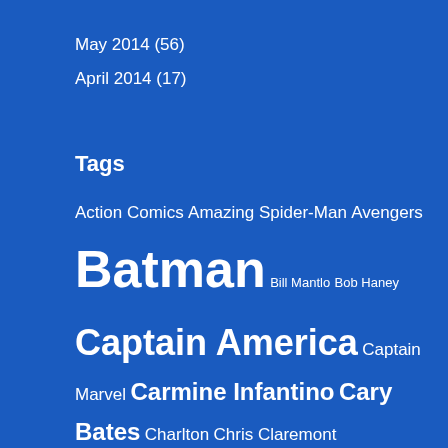May 2014 (56)
April 2014 (17)
Tags
Action Comics Amazing Spider-Man Avengers Batman Bill Mantlo Bob Haney Captain America Captain Marvel Carmine Infantino Cary Bates Charlton Chris Claremont Curt Swan Daredevil Dave Cockrum DC Denny O'Neil Detective Comics Dick Ayers Dick Dillin Dick Giordano E. Nelson Bridwell Ernie Chan Ernie Chua Fantastic Four Flash Frank Miller Gardner Fox George Perez Gerry Conway Gil Kane Green Arrow Green Lantern Incredible Hulk Iron Man Irv Novick Jack Kirby